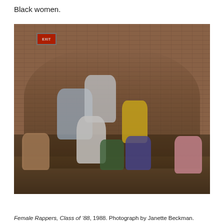Black women.
[Figure (photo): Group photo of female rappers posing together in a brick-walled room with an EXIT sign visible. Some are seated on the floor, others standing or sitting behind them. They are dressed in colorful late-1980s fashion including yellow, white, purple, pink, and blue outfits.]
Female Rappers, Class of '88, 1988. Photograph by Janette Beckman.